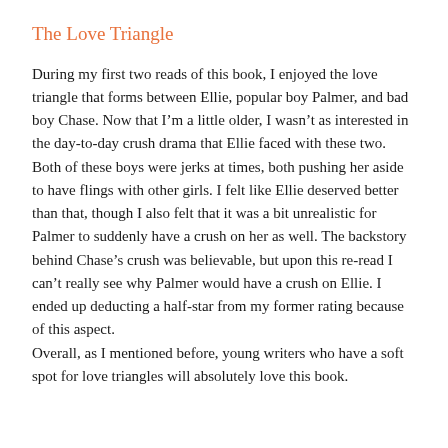The Love Triangle
During my first two reads of this book, I enjoyed the love triangle that forms between Ellie, popular boy Palmer, and bad boy Chase. Now that I'm a little older, I wasn't as interested in the day-to-day crush drama that Ellie faced with these two. Both of these boys were jerks at times, both pushing her aside to have flings with other girls. I felt like Ellie deserved better than that, though I also felt that it was a bit unrealistic for Palmer to suddenly have a crush on her as well. The backstory behind Chase's crush was believable, but upon this re-read I can't really see why Palmer would have a crush on Ellie. I ended up deducting a half-star from my former rating because of this aspect.
Overall, as I mentioned before, young writers who have a soft spot for love triangles will absolutely love this book.